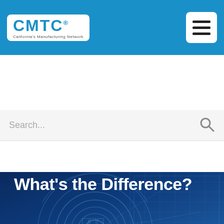CMTC - California's Manufacturing Network
Search...
[Figure (photo): Dark blue technology background with circular digital interface elements and a hand, overlaid with article metadata and title text]
May 5, 2021 | ISO
ISO 9000 VS. 9001: What's the Difference?